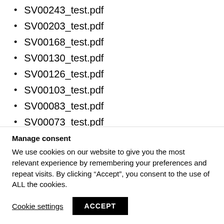SV00243_test.pdf
SV00203_test.pdf
SV00168_test.pdf
SV00130_test.pdf
SV00126_test.pdf
SV00103_test.pdf
SV00083_test.pdf
SV00073_test.pdf
SV00060_test.pdf
SV00050_test.pdf
SV00043_test.pdf
SV00040_test.pdf
Manage consent
We use cookies on our website to give you the most relevant experience by remembering your preferences and repeat visits. By clicking “Accept”, you consent to the use of ALL the cookies.
Cookie settings | ACCEPT